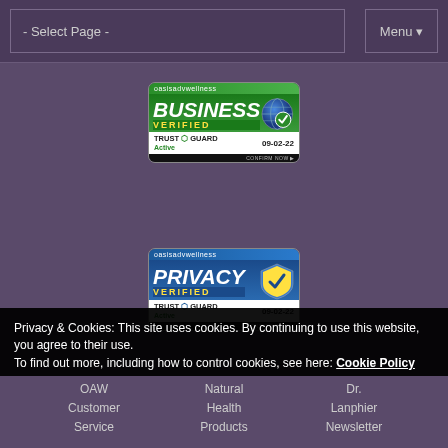- Select Page -   Menu
[Figure (logo): Trust Guard Business Verified badge for oasisadvwellness, showing BUSINESS VERIFIED in green with globe icon, TRUST GUARD Active shield, date 09-02-22, CONFIRM NOW link]
[Figure (logo): Trust Guard Privacy Verified badge for oasisadvwellness, showing PRIVACY VERIFIED in blue with shield/checkmark icon, TRUST GUARD Active shield, date 09-02-22, CONFIRM NOW link]
Privacy & Cookies: This site uses cookies. By continuing to use this website, you agree to their use.
To find out more, including how to control cookies, see here: Cookie Policy
Close and accept
OAW
Customer
Service
Natural
Health
Products
Dr.
Lanphier
Newsletter